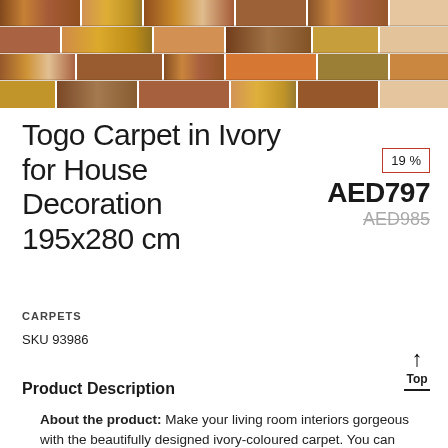[Figure (photo): Close-up photograph of a wood parquet floor with various brown tones]
Togo Carpet in Ivory for House Decoration 195x280 cm
19 % AED797 AED985
CARPETS
SKU 93986
Product Description
About the product: Make your living room interiors gorgeous with the beautifully designed ivory-coloured carpet. You can place it in your living room, bedroom dining room. Crafted from Togo, delivering it...